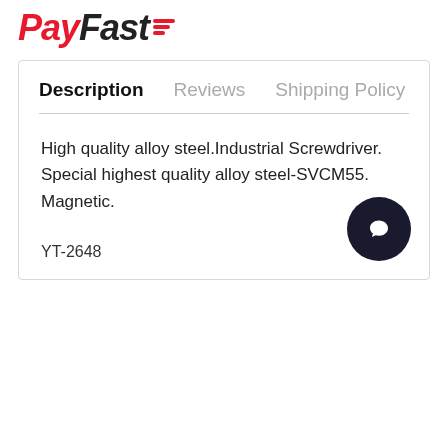[Figure (logo): PayFast logo with red italic text for 'Pay', black italic text for 'Fast', and a red stacked lines icon to the right]
Description   Reviews   Shipping Policy
High quality alloy steel.Industrial Screwdriver. Special highest quality alloy steel-SVCM55. Magnetic.
YT-2648
[Figure (illustration): Dark circular chat/messenger button icon in the bottom right corner of the card]